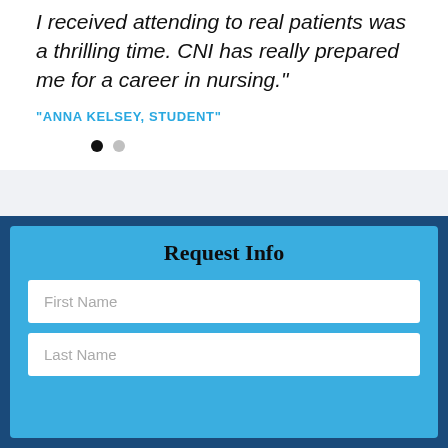I received attending to real patients was a thrilling time. CNI has really prepared me for a career in nursing."
"ANNA KELSEY, STUDENT"
[Figure (other): Carousel navigation dots: one filled black dot (active) and one grey dot (inactive)]
Request Info
First Name
Last Name